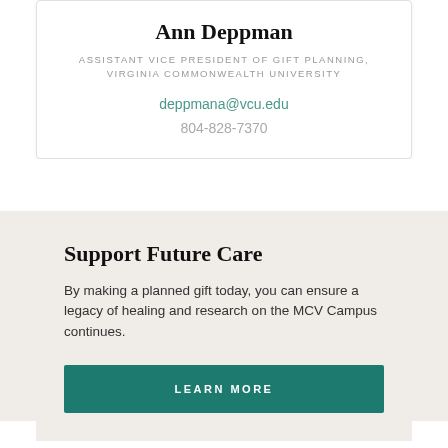Ann Deppman
ASSISTANT VICE PRESIDENT OF GIFT PLANNING, VIRGINIA COMMONWEALTH UNIVERSITY
deppmana@vcu.edu
804-828-7370
Support Future Care
By making a planned gift today, you can ensure a legacy of healing and research on the MCV Campus continues.
LEARN MORE